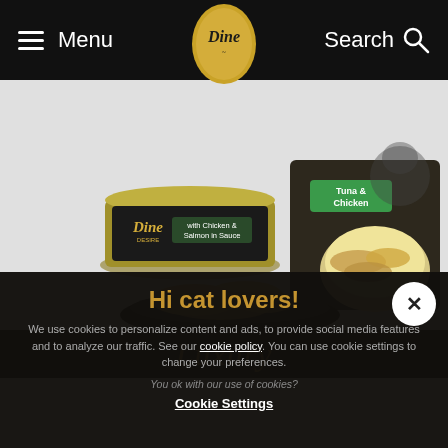Menu | Dine | Search
[Figure (photo): Dine cat food products: a can of Dine Desire with Chicken & Salmon in Sauce, and a Tuna & Chicken pouch/tray with wet cat food displayed on a black plate]
Luxury
Hi cat lovers!
We use cookies to personalize content and ads, to provide social media features and to analyze our traffic. See our cookie policy. You can use cookie settings to change your preferences.
You ok with our use of cookies?
Cookie Settings